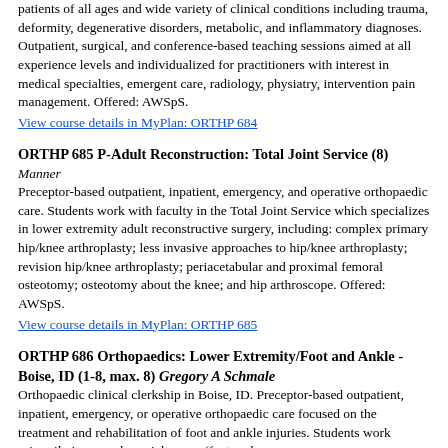patients of all ages and wide variety of clinical conditions including trauma, deformity, degenerative disorders, metabolic, and inflammatory diagnoses. Outpatient, surgical, and conference-based teaching sessions aimed at all experience levels and individualized for practitioners with interest in medical specialties, emergent care, radiology, physiatry, intervention pain management. Offered: AWSpS.
View course details in MyPlan: ORTHP 684
ORTHP 685 P-Adult Reconstruction: Total Joint Service (8)
Manner
Preceptor-based outpatient, inpatient, emergency, and operative orthopaedic care. Students work with faculty in the Total Joint Service which specializes in lower extremity adult reconstructive surgery, including: complex primary hip/knee arthroplasty; less invasive approaches to hip/knee arthroplasty; revision hip/knee arthroplasty; periacetabular and proximal femoral osteotomy; osteotomy about the knee; and hip arthroscope. Offered: AWSpS.
View course details in MyPlan: ORTHP 685
ORTHP 686 Orthopaedics: Lower Extremity/Foot and Ankle - Boise, ID (1-8, max. 8) Gregory A Schmale
Orthopaedic clinical clerkship in Boise, ID. Preceptor-based outpatient, inpatient, emergency, or operative orthopaedic care focused on the treatment and rehabilitation of foot and ankle injuries. Students work primarily in one subspecialty area (foot and